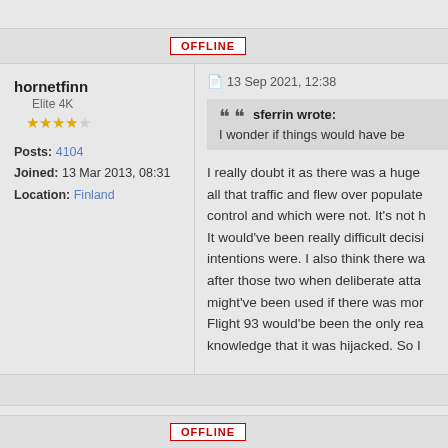OFFLINE
hornetfinn
Elite 4K
★★★★☆
Posts: 4104
Joined: 13 Mar 2013, 08:31
Location: Finland
13 Sep 2021, 12:38
sferrin wrote:
I wonder if things would have be
I really doubt it as there was a huge all that traffic and flew over populate control and which were not. It's not h It would've been really difficult decisi intentions were. I also think there wa after those two when deliberate atta might've been used if there was mor Flight 93 would'be been the only rea knowledge that it was hijacked. So I
OFFLINE